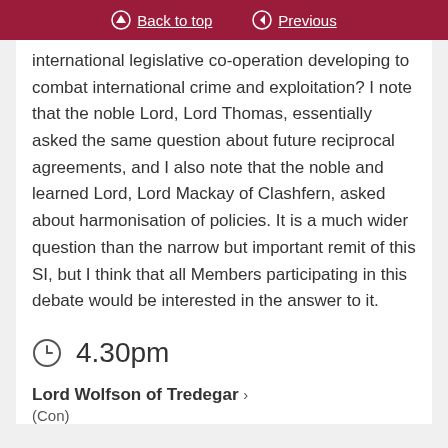Back to top | Previous
international legislative co-operation developing to combat international crime and exploitation? I note that the noble Lord, Lord Thomas, essentially asked the same question about future reciprocal agreements, and I also note that the noble and learned Lord, Lord Mackay of Clashfern, asked about harmonisation of policies. It is a much wider question than the narrow but important remit of this SI, but I think that all Members participating in this debate would be interested in the answer to it.
4.30pm
Lord Wolfson of Tredegar > (Con)